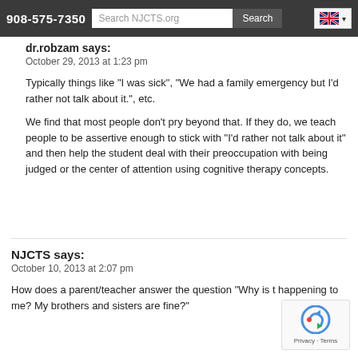908-575-7350  Search NJCTS.org  Search
dr.robzam says:
October 29, 2013 at 1:23 pm

Typically things like “I was sick”, “We had a family emergency but I’d rather not talk about it.”, etc.

We find that most people don’t pry beyond that. If they do, we teach people to be assertive enough to stick with “I’d rather not talk about it” and then help the student deal with their preoccupation with being judged or the center of attention using cognitive therapy concepts.
NJCTS says:
October 10, 2013 at 2:07 pm

How does a parent/teacher answer the question “Why is this happening to me? My brothers and sisters are fine?”